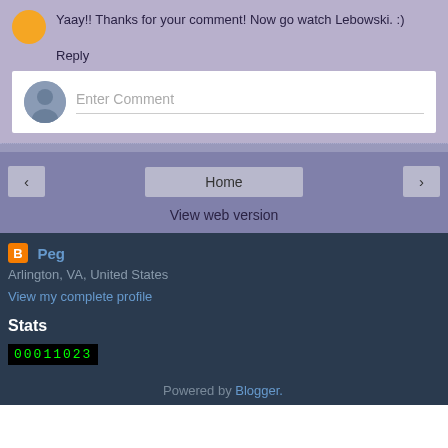Yaay!! Thanks for your comment! Now go watch Lebowski. :)
Reply
Enter Comment
Home
View web version
Peg
Arlington, VA, United States
View my complete profile
Stats
00011023
Powered by Blogger.